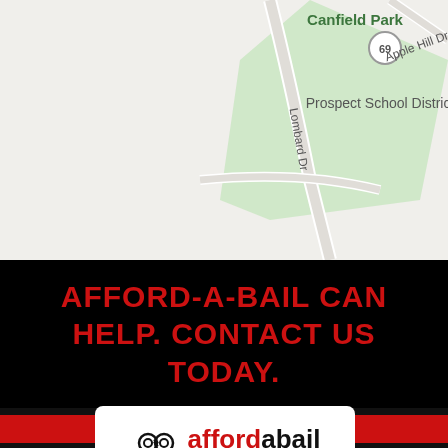[Figure (map): Google Maps screenshot showing Canfield Park (green area), Prospect School District with a location pin, Lombard Dr road, and Apple Hill Dr road. Route 69 circle marker visible.]
AFFORD-A-BAIL CAN HELP. CONTACT US TODAY.
[Figure (logo): AffordABail Bail Bonds logo: handcuffs icon on the left, red 'afford' + black 'abail' text, and 'bail bonds' subtitle below.]